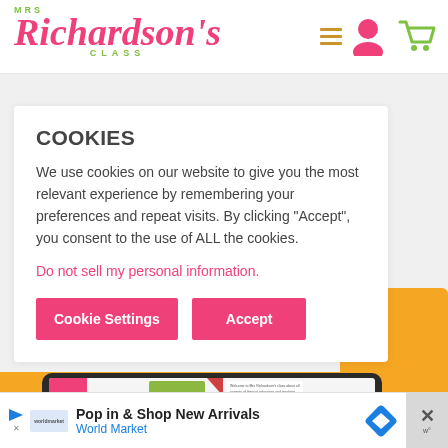[Figure (logo): Mrs Richardson's Class logo with pink script font and green 'CLASS' text below]
COOKIES
We use cookies on our website to give you the most relevant experience by remembering your preferences and repeat visits. By clicking “Accept”, you consent to the use of ALL the cookies.
Do not sell my personal information.
Cookie Settings   Accept
[Figure (screenshot): Website screenshot showing a tablet with literacy content on an orange background]
Pop in & Shop New Arrivals
World Market